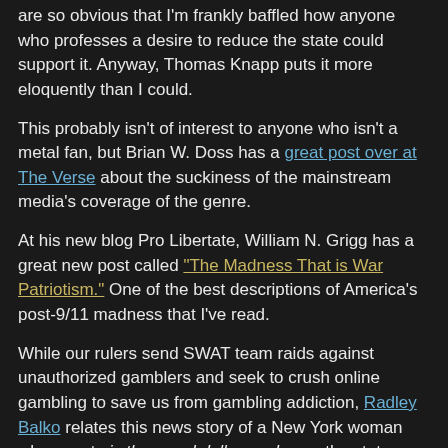are so obvious that I'm frankly baffled how anyone who professes a desire to reduce the state could support it. Anyway, Thomas Knapp puts it more eloquently than I could.
This probably isn't of interest to anyone who isn't a metal fan, but Brian W. Doss has a great post over at The Verse about the suckiness of the mainstream media's coverage of the genre.
At his new blog Pro Libertate, William N. Grigg has a great new post called "The Madness That is War Patriotism." One of the best descriptions of America's post-9/11 madness that I've read.
While our rulers send SWAT team raids against unauthorized gamblers and seek to crush online gambling to save us from gambling addiction, Radley Balko relates this news story of a New York woman who spent six thousand dollars a day on the state lottery, fueling her gambling by embezzling over two million dollars from her employer. Another reminder that anti-gambling laws aren't about protecting public morals, they're about making sure the state gets all the swag.